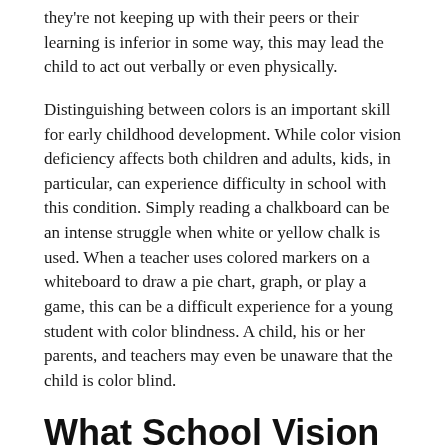they're not keeping up with their peers or their learning is inferior in some way, this may lead the child to act out verbally or even physically.
Distinguishing between colors is an important skill for early childhood development. While color vision deficiency affects both children and adults, kids, in particular, can experience difficulty in school with this condition. Simply reading a chalkboard can be an intense struggle when white or yellow chalk is used. When a teacher uses colored markers on a whiteboard to draw a pie chart, graph, or play a game, this can be a difficult experience for a young student with color blindness. A child, his or her parents, and teachers may even be unaware that the child is color blind.
What School Vision Screenings Miss
Many parents believe that an in-school vision screening is good enough. However, an eye chart test only checks for basic visual acuity, so kids with blurry or double vision, for example,